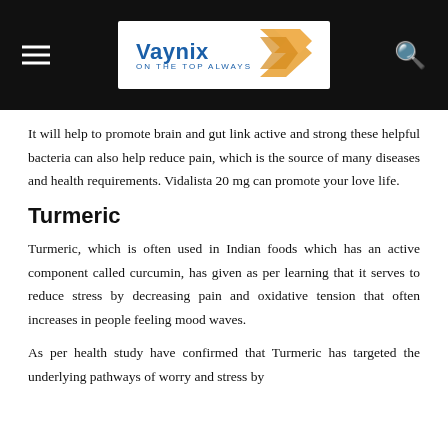Vaynix — ON THE TOP ALWAYS
It will help to promote brain and gut link active and strong these helpful bacteria can also help reduce pain, which is the source of many diseases and health requirements. Vidalista 20 mg can promote your love life.
Turmeric
Turmeric, which is often used in Indian foods which has an active component called curcumin, has given as per learning that it serves to reduce stress by decreasing pain and oxidative tension that often increases in people feeling mood waves.
As per health study have confirmed that Turmeric has targeted the underlying pathways of worry and stress by